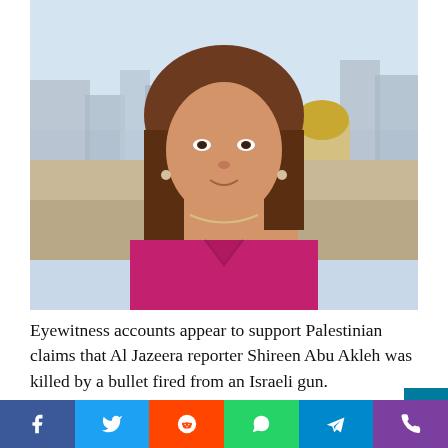[Figure (photo): Portrait photo of a woman with shoulder-length brown hair wearing a magenta/pink top, with the Jerusalem skyline including the Dome of the Rock visible in the background.]
Eyewitness accounts appear to support Palestinian claims that Al Jazeera reporter Shireen Abu Akleh was killed by a bullet fired from an Israeli gun.
Ms Abu Akleh was shot in the head while covering an
Facebook Twitter Reddit WhatsApp Telegram Phone